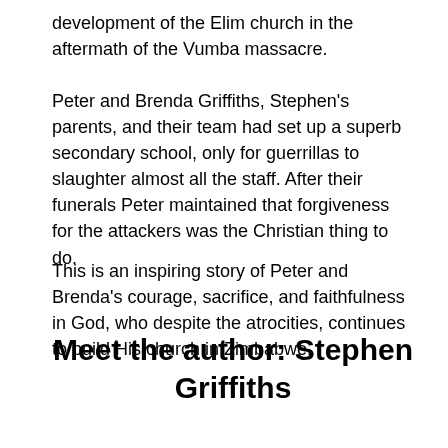development of the Elim church in the aftermath of the Vumba massacre.
Peter and Brenda Griffiths, Stephen's parents, and their team had set up a superb secondary school, only for guerrillas to slaughter almost all the staff. After their funerals Peter maintained that forgiveness for the attackers was the Christian thing to do.
This is an inspiring story of Peter and Brenda's courage, sacrifice, and faithfulness in God, who despite the atrocities, continues to build His church in Zimbabwe.
Meet the author: Stephen Griffiths